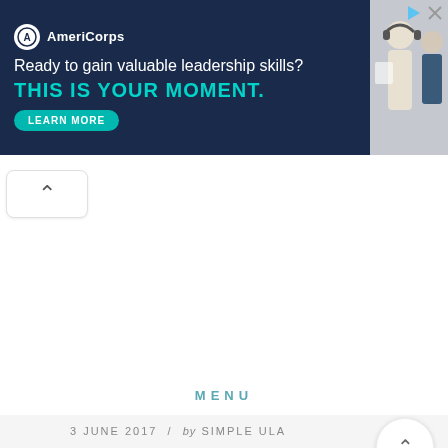[Figure (other): AmeriCorps advertisement banner with dark navy background. Shows AmeriCorps logo and text: 'Ready to gain valuable leadership skills? THIS IS YOUR MOMENT.' with a teal 'LEARN MORE' button. Right side shows a photo of young people.]
MENU
3 JUNE 2017 / by SIMPLE ULA